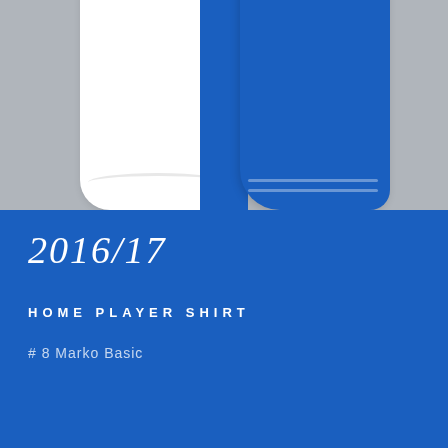[Figure (photo): A football/soccer home player shirt hanging, split half white and half blue, photographed against a grey background. This is the lower portion of the shirt showing the hem area.]
2016/17
HOME PLAYER SHIRT
# 8 Marko Basic